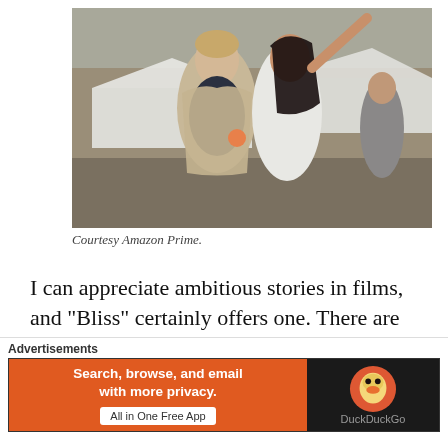[Figure (photo): Two people standing outdoors near white canopy tents. A man in a beige blazer over a dark shirt and a woman in a white dress pointing upward with her right arm extended.]
Courtesy Amazon Prime.
I can appreciate ambitious stories in films, and “Bliss” certainly offers one. There are some good ideas at play, but those ideas are never
[Figure (infographic): DuckDuckGo advertisement banner. Orange left panel reads: Search, browse, and email with more privacy. All in One Free App. Black right panel shows DuckDuckGo logo and name.]